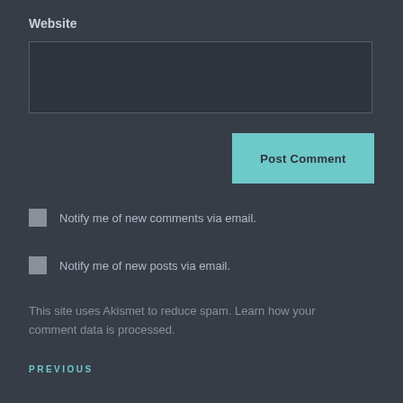Website
[Figure (screenshot): Empty text input field for website URL, dark background with border]
[Figure (screenshot): Post Comment button in teal/cyan color]
Notify me of new comments via email.
Notify me of new posts via email.
This site uses Akismet to reduce spam. Learn how your comment data is processed.
PREVIOUS